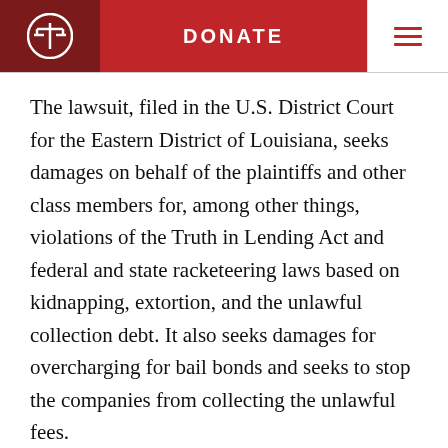DONATE
The lawsuit, filed in the U.S. District Court for the Eastern District of Louisiana, seeks damages on behalf of the plaintiffs and other class members for, among other things, violations of the Truth in Lending Act and federal and state racketeering laws based on kidnapping, extortion, and the unlawful collection debt. It also seeks damages for overcharging for bail bonds and seeks to stop the companies from collecting the unlawful fees.